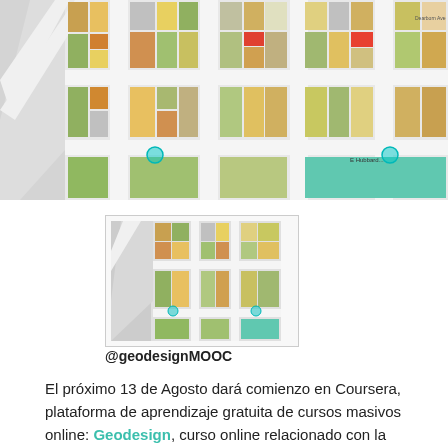[Figure (map): Colorful urban city block map showing land use parcels in various colors (green, yellow, orange, red, gray, teal) with white street grid]
[Figure (map): Smaller thumbnail version of the same urban land use map, shown within a bordered image box]
@geodesignMOOC
El próximo 13 de Agosto dará comienzo en Coursera, plataforma de aprendizaje gratuita de cursos masivos online: Geodesign, curso online relacionado con la temática SIG / GEO con una duración de 5 semanas en el que probablemente estés interesado. El curso está en ingles, pero los vídeos también vienen con subtitulos en